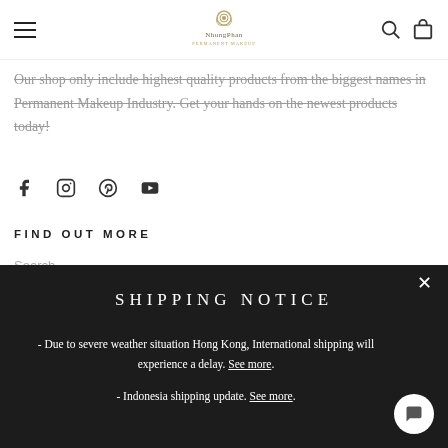[Navigation header with hamburger menu, NhungPhan logo, search and cart icons]
Our shop only include highest quality products from the biggest names in Permanent Makeup Industry. Get your hands on the newest products today!
[Figure (illustration): Social media icons: Facebook, Instagram, Pinterest, YouTube]
FIND OUT MORE
Search...
SHIPPING NOTICE
- Due to severe weather situation Hong Kong, International shipping will experience a delay. See more.
- Indonesia shipping update. See more.